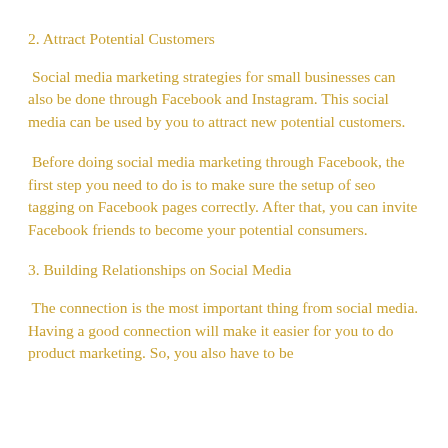2. Attract Potential Customers
Social media marketing strategies for small businesses can also be done through Facebook and Instagram. This social media can be used by you to attract new potential customers.
Before doing social media marketing through Facebook, the first step you need to do is to make sure the setup of seo tagging on Facebook pages correctly. After that, you can invite Facebook friends to become your potential consumers.
3. Building Relationships on Social Media
The connection is the most important thing from social media. Having a good connection will make it easier for you to do product marketing. So, you also have to be